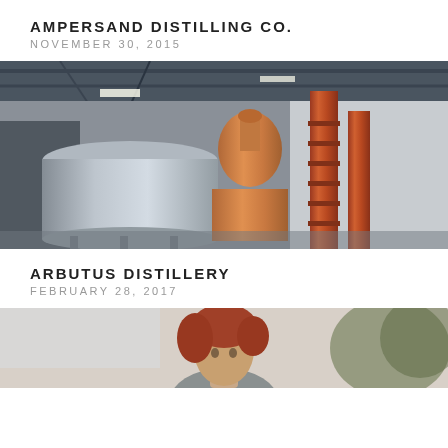AMPERSAND DISTILLING CO.
NOVEMBER 30, 2015
[Figure (photo): Interior of a distillery showing large stainless steel fermentation tanks and copper pot stills with column stills in an industrial warehouse setting]
ARBUTUS DISTILLERY
FEBRUARY 28, 2017
[Figure (photo): Person with red/auburn hair photographed outdoors, partially visible at bottom of page]